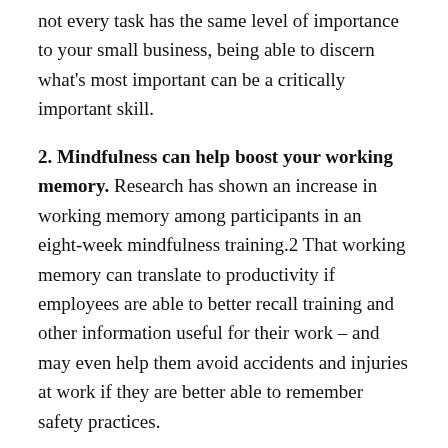not every task has the same level of importance to your small business, being able to discern what's most important can be a critically important skill.
2. Mindfulness can help boost your working memory. Research has shown an increase in working memory among participants in an eight-week mindfulness training.2 That working memory can translate to productivity if employees are able to better recall training and other information useful for their work – and may even help them avoid accidents and injuries at work if they are better able to remember safety practices.
3. Mindfulness can help reduce stress